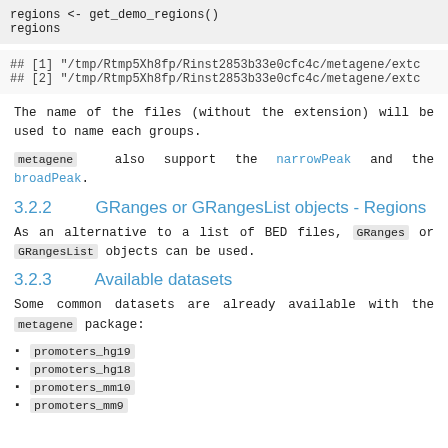regions <- get_demo_regions()
regions
## [1] "/tmp/Rtmp5Xh8fp/Rinst2853b33e0cfc4c/metagene/extc
## [2] "/tmp/Rtmp5Xh8fp/Rinst2853b33e0cfc4c/metagene/extc
The name of the files (without the extension) will be used to name each groups.
metagene also support the narrowPeak and the broadPeak.
3.2.2    GRanges or GRangesList objects - Regions
As an alternative to a list of BED files, GRanges or GRangesList objects can be used.
3.2.3    Available datasets
Some common datasets are already available with the metagene package:
promoters_hg19
promoters_hg18
promoters_mm10
promoters_mm9